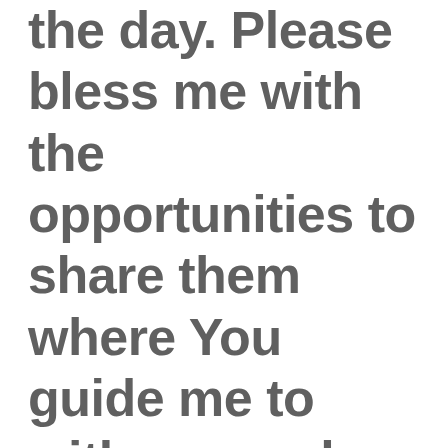the day. Please bless me with the opportunities to share them where You guide me to with as much joy to share them as it is